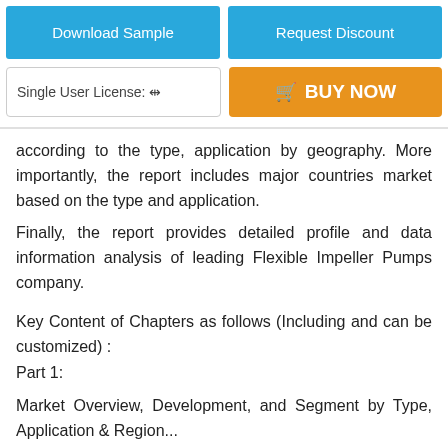[Figure (screenshot): Two teal/blue buttons side by side: 'Download Sample' and 'Request Discount']
[Figure (screenshot): License selector dropdown 'Single User License:' and orange 'BUY NOW' button with cart icon]
according to the type, application by geography. More importantly, the report includes major countries market based on the type and application.
Finally, the report provides detailed profile and data information analysis of leading Flexible Impeller Pumps company.
Key Content of Chapters as follows (Including and can be customized) :
Part 1:
Market Overview, Development, and Segment by Type, Application & Region.